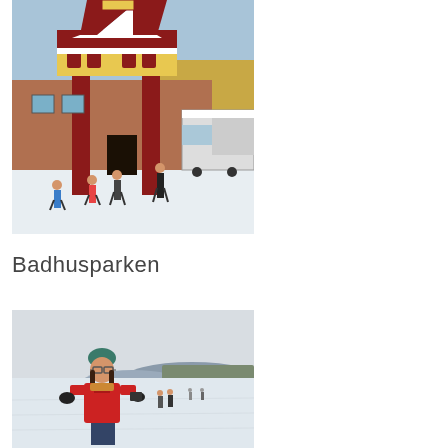[Figure (photo): A large decorative wooden Dala horse structure / gate in red and white, covered in snow, with people walking in a snowy plaza in front of a building. Winter scene.]
Badhusparken
[Figure (photo): A person in a red jacket and teal hat standing on a frozen snow-covered lake, with other people walking in the background and hills visible on the horizon. Winter scene.]